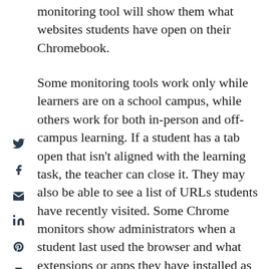monitoring tool will show them what websites students have open on their Chromebook.
Some monitoring tools work only while learners are on a school campus, while others work for both in-person and off-campus learning. If a student has a tab open that isn't aligned with the learning task, the teacher can close it. They may also be able to see a list of URLs students have recently visited. Some Chrome monitors show administrators when a student last used the browser and what extensions or apps they have installed as well.
A monitoring tool alerts the student